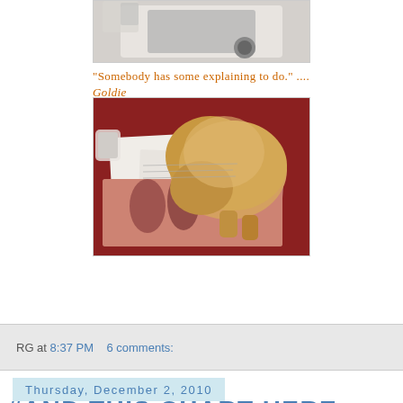[Figure (photo): Photo of a kitchen sink with dishes, partially cropped at the top of the page]
"Somebody has some explaining to do." .... Goldie
[Figure (photo): Photo of a fluffy golden/orange dog or cat laying on top of a magazine and papers on a red tablecloth, with a mug visible in the background]
RG at 8:37 PM    6 comments:
Thursday, December 2, 2010
#AND THIS CHART HERE